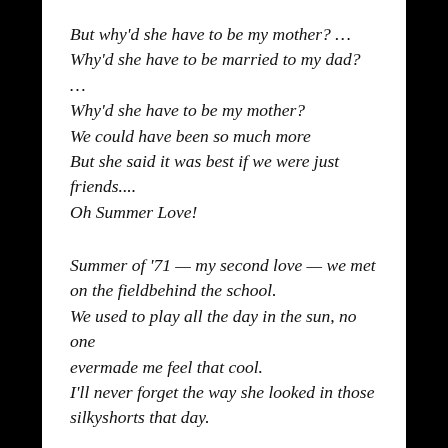But why'd she have to be my mother? … Why'd she have to be married to my dad? … Why'd she have to be my mother? We could have been so much more But she said it was best if we were just friends.... Oh Summer Love!
Summer of '71 — my second love — we met on the fieldbehind the school. We used to play all the day in the sun, no one evermade me feel that cool. I'll never forget the way she looked in those silkyshorts that day.